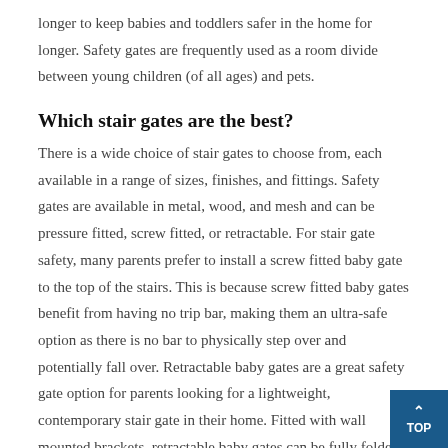longer to keep babies and toddlers safer in the home for longer. Safety gates are frequently used as a room divide between young children (of all ages) and pets.
Which stair gates are the best?
There is a wide choice of stair gates to choose from, each available in a range of sizes, finishes, and fittings. Safety gates are available in metal, wood, and mesh and can be pressure fitted, screw fitted, or retractable. For stair gate safety, many parents prefer to install a screw fitted baby gate to the top of the stairs. This is because screw fitted baby gates benefit from having no trip bar, making them an ultra-safe option as there is no bar to physically step over and potentially fall over. Retractable baby gates are a great safety gate option for parents looking for a lightweight, contemporary stair gate in their home. Fitted with wall mounted brackets, retractable baby gates can be fully folded back and